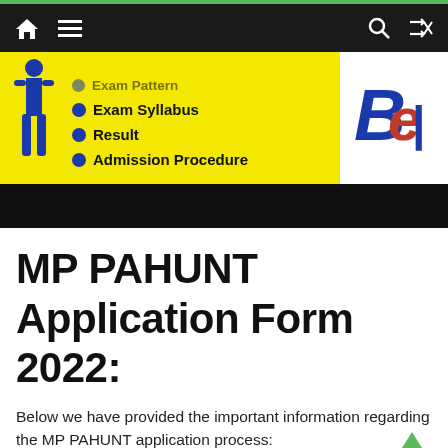Navigation bar with home, menu, search, and shuffle icons
[Figure (infographic): Yellow banner with bullet list: Exam Pattern (partially visible), Exam Syllabus, Result, Admission Procedure. Blue human figure on left, logo on right. Black bar below.]
MP PAHUNT Application Form 2022:
Below we have provided the important information regarding the MP PAHUNT application process: